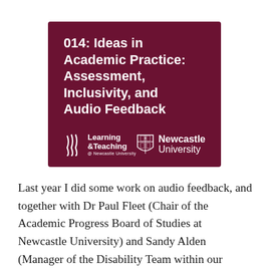[Figure (other): Dark maroon/burgundy banner image with title '014: Ideas in Academic Practice: Assessment, Inclusivity, and Audio Feedback' in white bold text, and two logos at bottom: Learning & Teaching at Newcastle University (left) and Newcastle University crest logo (right)]
Last year I did some work on audio feedback, and together with Dr Paul Fleet (Chair of the Academic Progress Board of Studies at Newcastle University) and Sandy Alden (Manager of the Disability Team within our Student Health and Wellbeing Service at Newcastle University) we discussed this topic on Episode 14 of